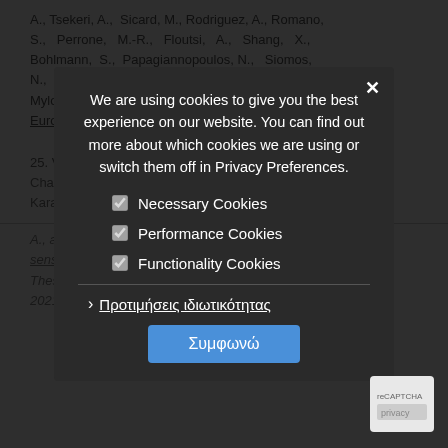A., Tsekeri, A., Sicard, M., Rodriguez, A., Romano, S., Perrone, M.-R., Floutsi, A., Shang, X., Bohlmann, S., Papagiannopoulos, N., Siomos, N., Talianu, C., Stachlewska, I., Fortuna, R., Mylonaki, M., and Balis, D.: Aerosol typing over Europe during the COVID-19 campaign: Possible … uring … , https://w… events/events/europeanlidar-conference-2021, 2021
25. Voudouri, … Michailidis, K., Chatzopoulou, A., Retsios, A., Fountoulakis, I., Karanikolas, A., … Sirane, K., Balis, A., and Balis, D.: Aerosol typing from remote sensing … data on Thessaloniki, … Laser Conference 2021, November … 3pm …
We are using cookies to give you the best experience on our website. You can find out more about which cookies we are using or switch them off in Privacy Preferences.
☑ Necessary Cookies
☑ Performance Cookies
☑ Functionality Cookies
› Προτιμήσεις ιδιωτικότητας
Συμφωνώ